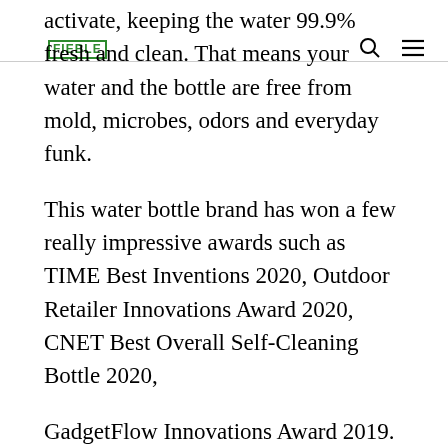FIEBLE [logo] [search icon] [menu icon]
activate, keeping the water 99.9% fresh and clean. That means your water and the bottle are free from mold, microbes, odors and everyday funk.
This water bottle brand has won a few really impressive awards such as TIME Best Inventions 2020, Outdoor Retailer Innovations Award 2020, CNET Best Overall Self-Cleaning Bottle 2020,
GadgetFlow Innovations Award 2019. Needless to say 2020 was definitely their year. These days keeping your belongings sterilized is more important than ever before.
There are many other benefits to this particular